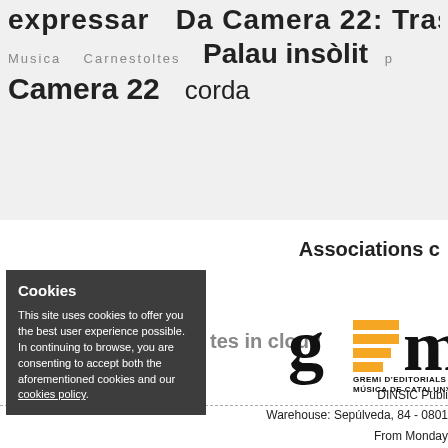expressar  Da Camera 22: Tras da
Musica   Carnestoltes   Palau insòlit   p
Camera 22   corda
Associations c
Cookies
This site uses cookies to offer you the best user experience possible. In continuing to browse, you are consenting to accept both the aforementioned cookies and our cookies policy.
tes in cloud
[Figure (logo): GEMC - Gremi d'Editorials de Música de Catalunya logo with orange and black design]
DINSIC Publi
Warehouse: Sepúlveda, 84 - 0801
From Monday